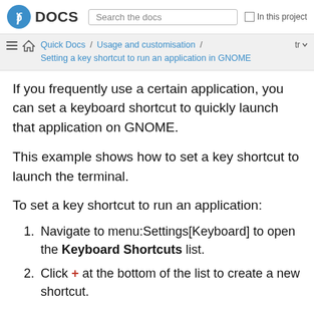Fedora DOCS | Search the docs | In this project
Quick Docs / Usage and customisation / Setting a key shortcut to run an application in GNOME | tr
If you frequently use a certain application, you can set a keyboard shortcut to quickly launch that application on GNOME.
This example shows how to set a key shortcut to launch the terminal.
To set a key shortcut to run an application:
Navigate to menu:Settings[Keyboard] to open the Keyboard Shortcuts list.
Click + at the bottom of the list to create a new shortcut.